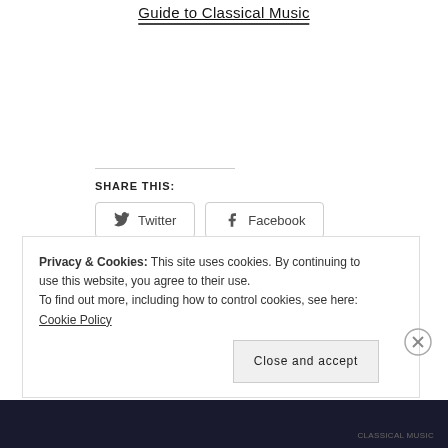Guide to Classical Music
SHARE THIS:
[Figure (other): Twitter and Facebook share buttons]
Loading...
Privacy & Cookies: This site uses cookies. By continuing to use this website, you agree to their use. To find out more, including how to control cookies, see here: Cookie Policy
Close and accept